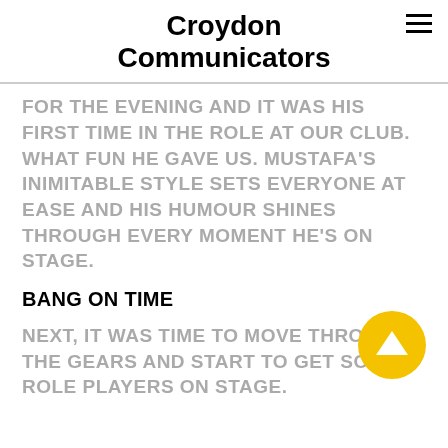Croydon Communicators
FOR THE EVENING AND IT WAS HIS FIRST TIME IN THE ROLE AT OUR CLUB. WHAT FUN HE GAVE US. MUSTAFA'S INIMITABLE STYLE SETS EVERYONE AT EASE AND HIS HUMOUR SHINES THROUGH EVERY MOMENT HE'S ON STAGE.
BANG ON TIME
NEXT, IT WAS TIME TO MOVE THROUGH THE GEARS AND START TO GET SOME ROLE PLAYERS ON STAGE.